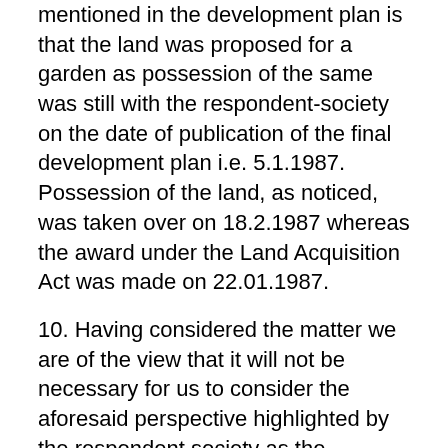mentioned in the development plan is that the land was proposed for a garden as possession of the same was still with the respondent-society on the date of publication of the final development plan i.e. 5.1.1987. Possession of the land, as noticed, was taken over on 18.2.1987 whereas the award under the Land Acquisition Act was made on 22.01.1987.
10. Having considered the matter we are of the view that it will not be necessary for us to consider the aforesaid perspective highlighted by the respondent society as the controversy over the entitlement to TDR under the